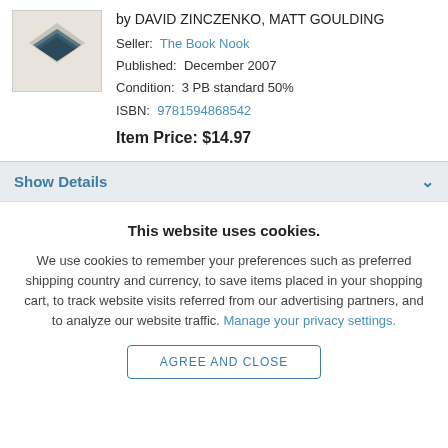[Figure (illustration): Book cover thumbnail showing stacked books or diamond shape in dark blue/teal on beige background]
by DAVID ZINCZENKO, MATT GOULDING
Seller: The Book Nook
Published: December 2007
Condition: 3 PB standard 50%
ISBN: 9781594868542
Item Price: $14.97
Show Details
This website uses cookies.
We use cookies to remember your preferences such as preferred shipping country and currency, to save items placed in your shopping cart, to track website visits referred from our advertising partners, and to analyze our website traffic. Manage your privacy settings.
AGREE AND CLOSE